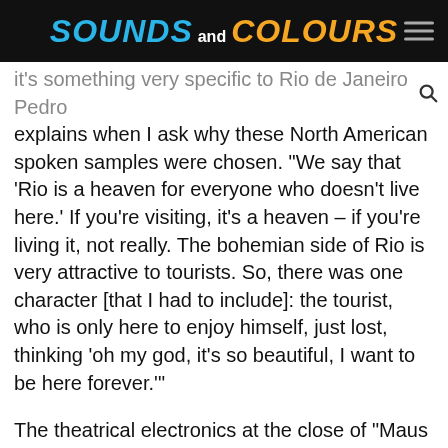SOUNDS and COLOURS
it's something very specific to Rio de Janeiro. Pedro explains when I ask why these North American spoken samples were chosen. "We say that 'Rio is a heaven for everyone who doesn't live here.' If you're visiting, it's a heaven – if you're living it, not really. The bohemian side of Rio is very attractive to tourists. So, there was one character [that I had to include]: the tourist, who is only here to enjoy himself, just lost, thinking 'oh my god, it's so beautiful, I want to be here forever.'"
The theatrical electronics at the close of "Maus Lençóis" are heard through much of the album – but always in stark contexts. "Luar", for instance, is a rolling electronic soundscape, while "Seis Badaladas" is a trip-hop-inflected skit that might be an offcut from Primal Scream's Vanishing Point. Between the two is "Três Anos"